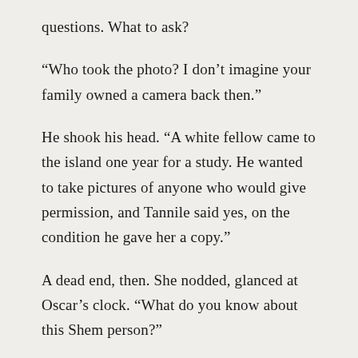questions. What to ask?
“Who took the photo? I don’t imagine your family owned a camera back then.”
He shook his head. “A white fellow came to the island one year for a study. He wanted to take pictures of anyone who would give permission, and Tannile said yes, on the condition he gave her a copy.”
A dead end, then. She nodded, glanced at Oscar’s clock. “What do you know about this Shem person?”